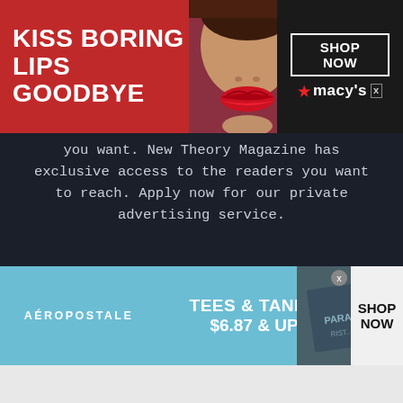[Figure (screenshot): Macy's advertisement banner: red background with 'KISS BORING LIPS GOODBYE' text, woman with red lips in center, 'SHOP NOW' button and Macy's logo on right]
you want. New Theory Magazine has exclusive access to the readers you want to reach. Apply now for our private advertising service.
Advertise
[Figure (other): Social media icons: Facebook, Twitter, LinkedIn, Instagram]
About New Theory
[Figure (screenshot): Aeropostale advertisement: TEES & TANKS $6.87 & UP with SHOP NOW button]